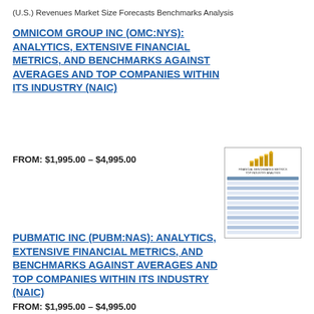(U.S.) Revenues Market Size Forecasts Benchmarks Analysis
OMNICOM GROUP INC (OMC:NYS): ANALYTICS, EXTENSIVE FINANCIAL METRICS, AND BENCHMARKS AGAINST AVERAGES AND TOP COMPANIES WITHIN ITS INDUSTRY (NAIC)
FROM: $1,995.00 – $4,995.00
[Figure (photo): Thumbnail image of a financial report document with gold bar chart graphic on top and tabular data below]
PUBMATIC INC (PUBM:NAS): ANALYTICS, EXTENSIVE FINANCIAL METRICS, AND BENCHMARKS AGAINST AVERAGES AND TOP COMPANIES WITHIN ITS INDUSTRY (NAIC)
FROM: $1,995.00 – $4,995.00